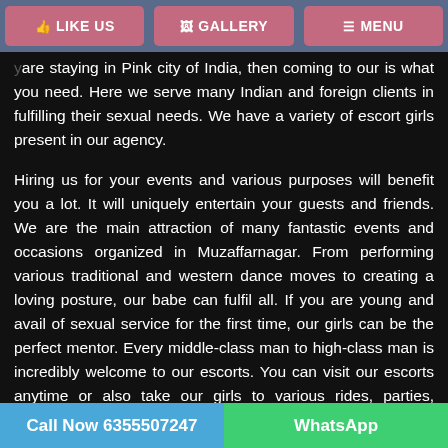LIKE US   GALLERY   MENU
are staying in Pink city of India, then coming to our is what you need. Here we serve many Indian and foreign clients in fulfilling their sexual needs. We have a variety of escort girls present in our agency.
Hiring us for your events and various purposes will benefit you a lot. It will uniquely entertain your guests and friends. We are the main attraction of many fantastic events and occasions organized in Muzaffarnagar. From performing various traditional and western dance moves to creating a loving posture, our babe can fulfil all. If you are young and avail of sexual service for the first time, our girls can be the perfect mentor. Every middle-class man to high-class man is incredibly welcome to our escorts. You can visit our escorts anytime or also take our girls to various rides, parties, occasions, festivals, trips, outings, and more. They will make sure that you will not feel ashamed of taking them.
Call Now 6355507247   WhatsApp